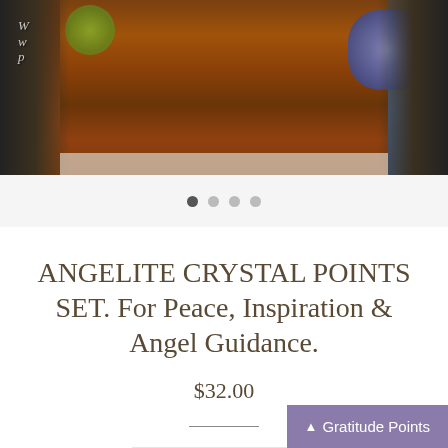[Figure (photo): Product image carousel showing wooden texture background with purple flowers on the right and green foliage on the left, with dark corner overlays and a logo 'Wwp' in the top left.]
ANGELITE CRYSTAL POINTS SET. For Peace, Inspiration & Angel Guidance.
$32.00
UNAVAILABLE
Gratitude Points